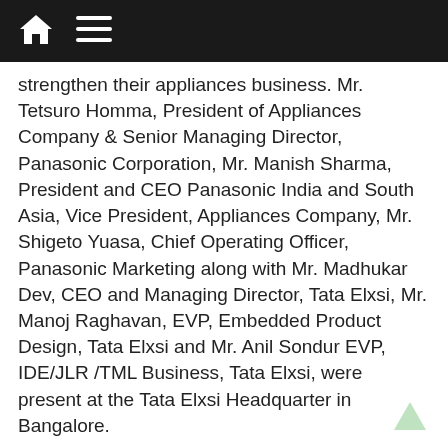[home icon] [menu icon]
strengthen their appliances business. Mr. Tetsuro Homma, President of Appliances Company & Senior Managing Director, Panasonic Corporation, Mr. Manish Sharma, President and CEO Panasonic India and South Asia, Vice President, Appliances Company, Mr. Shigeto Yuasa, Chief Operating Officer, Panasonic Marketing along with Mr. Madhukar Dev, CEO and Managing Director, Tata Elxsi, Mr. Manoj Raghavan, EVP, Embedded Product Design, Tata Elxsi and Mr. Anil Sondur EVP, IDE/JLR/TML Business, Tata Elxsi, were present at the Tata Elxsi Headquarter in Bangalore.
The Design Division and Offshore Development Division of the R&D Centre is aimed at product designing, to expand current organization